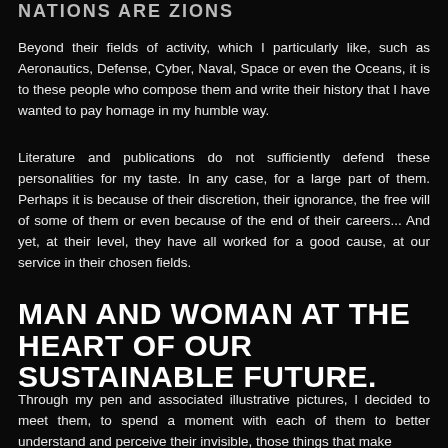NATIONS ARE ZIONS
Beyond their fields of activity, which I particularly like, such as Aeronautics, Defense, Cyber, Naval, Space or even the Oceans, it is to these people who compose them and write their history that I have wanted to pay homage in my humble way.
Literature and publications do not sufficiently defend these personalities for my taste. In any case, for a large part of them. Perhaps it is because of their discretion, their ignorance, the free will of some of them or even because of the end of their careers... And yet, at their level, they have all worked for a good cause, at our service in their chosen fields.
MAN AND WOMAN AT THE HEART OF OUR SUSTAINABLE FUTURE.
Through my pen and associated illustrative pictures, I decided to meet them, to spend a moment with each of them to better understand and perceive their invisible, those things that make